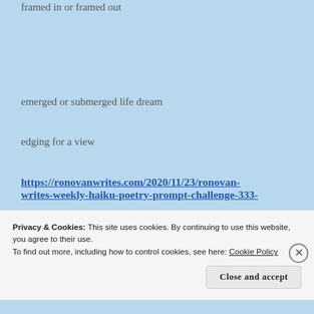framed in or framed out
emerged or submerged life dream
edging for a view
https://ronovanwrites.com/2020/11/23/ronovan-writes-weekly-haiku-poetry-prompt-challenge-333-
Privacy & Cookies: This site uses cookies. By continuing to use this website, you agree to their use.
To find out more, including how to control cookies, see here: Cookie Policy
Close and accept